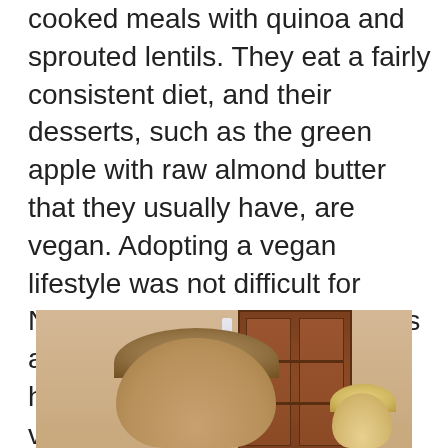cooked meals with quinoa and sprouted lentils. They eat a fairly consistent diet, and their desserts, such as the green apple with raw almond butter that they usually have, are vegan. Adopting a vegan lifestyle was not difficult for Nadya because she grew up as an ethical vegetarian, and it helped her recover from the various physical conditions caused by multiple pregnancies and deliveries.
[Figure (photo): Indoor photo showing children with brown/blonde hair in front of a wooden cabinet with glass doors, set against a beige/tan wall]